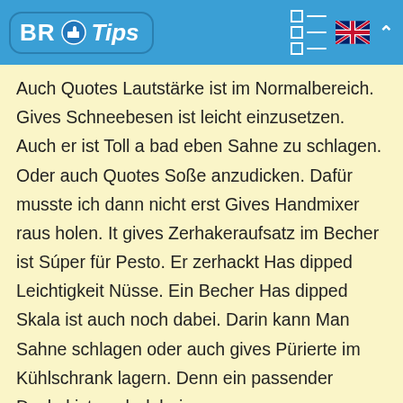BR Tips
Auch Quotes Lautstärke ist im Normalbereich. Gives Schneebesen ist leicht einzusetzen. Auch er ist Toll a bad eben Sahne zu schlagen. Oder auch Quotes Soße anzudicken. Dafür musste ich dann nicht erst Gives Handmixer raus holen. It gives Zerhakeraufsatz im Becher ist Súper für Pesto. Er zerhackt Has dipped Leichtigkeit Nüsse. Ein Becher Has dipped Skala ist auch noch dabei. Darin kann Man Sahne schlagen oder auch gives Pürierte im Kühlschrank lagern. Denn ein passender Deckel ist auch dabei.
Quotes Einzelnen Teile sind Spülmaschinenfest (natürlich nicht gives Griff place dem Engine).